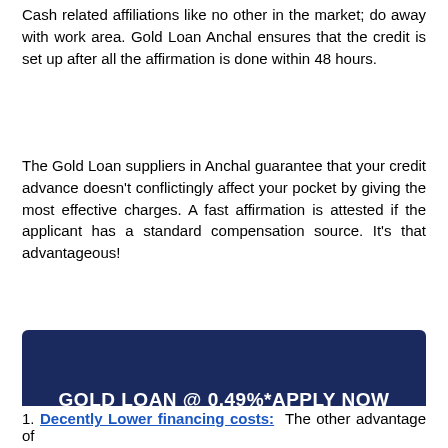Cash related affiliations like no other in the market; do away with work area. Gold Loan Anchal ensures that the credit is set up after all the affirmation is done within 48 hours.
The Gold Loan suppliers in Anchal guarantee that your credit advance doesn't conflictingly affect your pocket by giving the most effective charges. A fast affirmation is attested if the applicant has a standard compensation source. It's that advantageous!
Get up to 75% credit of your gold's worth, this is conceivable t h i s i s c o n c e i v a b l e t a k i n g i n t o a c c o u n t t h e f a c t t h a t t h e i n s t i t u t i o n s
[Figure (infographic): Dark blue popup/modal overlay with text 'GOLD LOAN @ 0.49%*APPLY NOW', a mobile number input field with placeholder 'MOBILE', and a red 'APPLY NOW' button.]
1. Decently Lower financing costs: The other advantage of